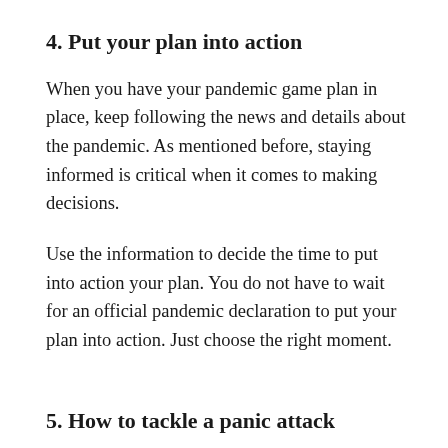4. Put your plan into action
When you have your pandemic game plan in place, keep following the news and details about the pandemic. As mentioned before, staying informed is critical when it comes to making decisions.
Use the information to decide the time to put into action your plan. You do not have to wait for an official pandemic declaration to put your plan into action. Just choose the right moment.
5. How to tackle a panic attack